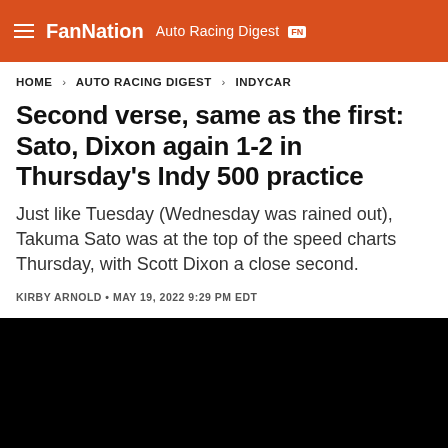FanNation Auto Racing Digest FN
HOME > AUTO RACING DIGEST > INDYCAR
Second verse, same as the first: Sato, Dixon again 1-2 in Thursday's Indy 500 practice
Just like Tuesday (Wednesday was rained out), Takuma Sato was at the top of the speed charts Thursday, with Scott Dixon a close second.
KIRBY ARNOLD • MAY 19, 2022 9:29 PM EDT